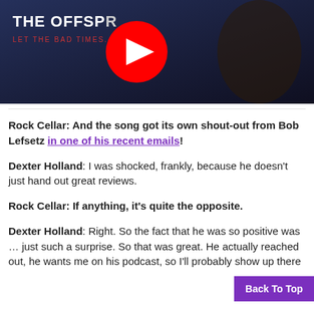[Figure (screenshot): YouTube video thumbnail showing The Offspring album art with a musician in dark clothing. Text reads 'THE OFFSPRING' and partially visible subtitle. Red YouTube play button overlay in center.]
Rock Cellar: And the song got its own shout-out from Bob Lefsetz in one of his recent emails!
Dexter Holland: I was shocked, frankly, because he doesn't just hand out great reviews.
Rock Cellar: If anything, it's quite the opposite.
Dexter Holland: Right. So the fact that he was so positive was … just such a surprise. So that was great. He actually reached out, he wants me on his podcast, so I'll probably show up there